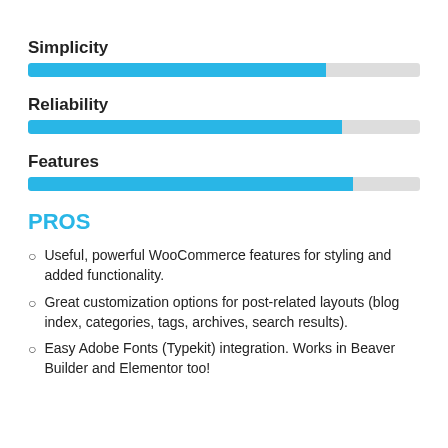[Figure (bar-chart): Ratings]
PROS
Useful, powerful WooCommerce features for styling and added functionality.
Great customization options for post-related layouts (blog index, categories, tags, archives, search results).
Easy Adobe Fonts (Typekit) integration. Works in Beaver Builder and Elementor too!